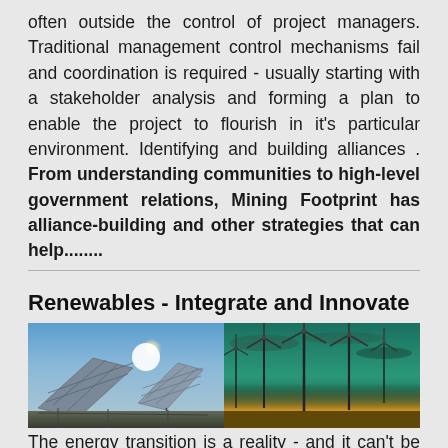often outside the control of project managers. Traditional management control mechanisms fail and coordination is required - usually starting with a stakeholder analysis and forming a plan to enable the project to flourish in it's particular environment. Identifying and building alliances . From understanding communities to high-level government relations, Mining Footprint has alliance-building and other strategies that can help........
Renewables - Integrate and Innovate
[Figure (photo): Two photos side by side: left shows solar panels against a bright sun and blue sky; right shows wind turbines against a dramatic teal/golden sunset sky.]
The energy transition is a reality - and it can't be done